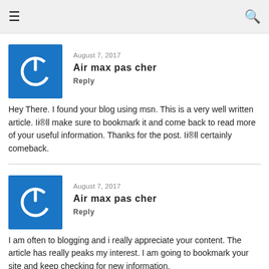≡  🔍
August 7, 2017
Air max pas cher
Reply
Hey There. I found your blog using msn. This is a very well written article. Ii®ll make sure to bookmark it and come back to read more of your useful information. Thanks for the post. Ii®ll certainly comeback.
August 7, 2017
Air max pas cher
Reply
I am often to blogging and i really appreciate your content. The article has really peaks my interest. I am going to bookmark your site and keep checking for new information.